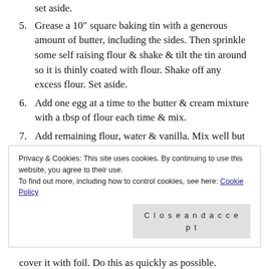set aside.
5. Grease a 10″ square baking tin with a generous amount of butter, including the sides. Then sprinkle some self raising flour & shake & tilt the tin around so it is thinly coated with flour. Shake off any excess flour. Set aside.
6. Add one egg at a time to the butter & cream mixture with a tbsp of flour each time & mix.
7. Add remaining flour, water & vanilla. Mix well but do not over beat!
8. Fold in baking powder. Do not beat on a high
Privacy & Cookies: This site uses cookies. By continuing to use this website, you agree to their use.
To find out more, including how to control cookies, see here: Cookie Policy
Close and accept
cover it with foil. Do this as quickly as possible.